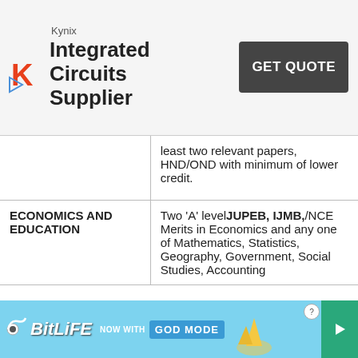[Figure (other): Kynix advertisement banner with logo, 'Integrated Circuits Supplier' text, and 'GET QUOTE' button]
|  | least two relevant papers, HND/OND with minimum of lower credit. |
| ECONOMICS AND EDUCATION | Two 'A' level JUPEB, IJMB,/NCE Merits in Economics and any one of Mathematics, Statistics, Geography, Government, Social Studies, Accounting |
[Figure (other): BitLife advertisement banner with 'NOW WITH GOD MODE' text]